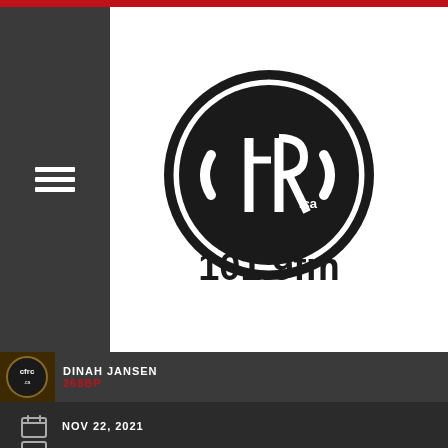[Figure (logo): CFRC 101.9fm radio station logo - black circle with CFRC.ca text and 101.9fm below]
DINAH JANSEN
268BP
NOV 22, 2021
1 REACTION